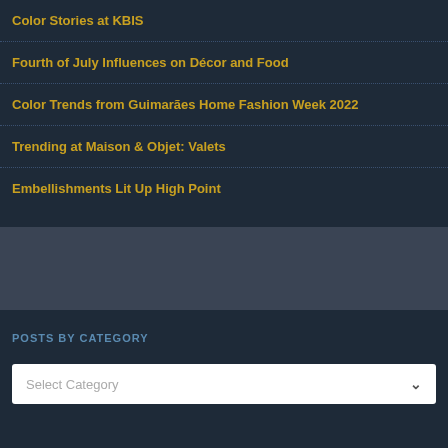Color Stories at KBIS
Fourth of July Influences on Décor and Food
Color Trends from Guimarães Home Fashion Week 2022
Trending at Maison & Objet: Valets
Embellishments Lit Up High Point
POSTS BY CATEGORY
Select Category